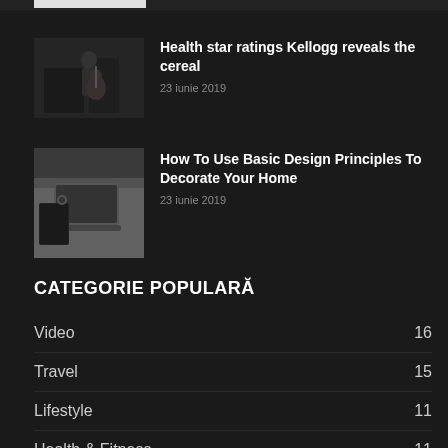[Figure (photo): Thumbnail image of person playing guitar in dark studio setting]
Health star ratings Kellogg reveals the cereal
23 iunie 2019
[Figure (photo): Thumbnail image of person using laptop and notebook on white desk]
How To Use Basic Design Principles To Decorate Your Home
23 iunie 2019
CATEGORIE POPULARĂ
Video 16
Travel 15
Lifestyle 11
Health & Fitness 11
Business 11
Gadgets 11